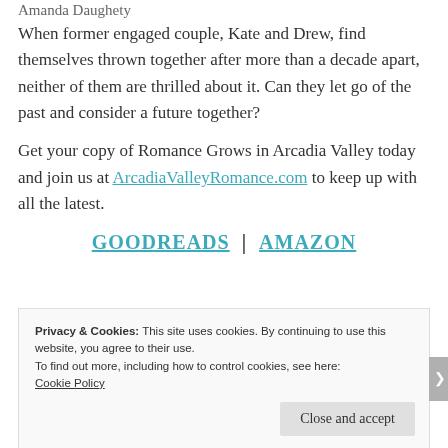Amanda Daughety
When former engaged couple, Kate and Drew, find themselves thrown together after more than a decade apart, neither of them are thrilled about it. Can they let go of the past and consider a future together?
Get your copy of Romance Grows in Arcadia Valley today and join us at ArcadiaValleyRomance.com to keep up with all the latest.
GOODREADS | AMAZON
Privacy & Cookies: This site uses cookies. By continuing to use this website, you agree to their use.
To find out more, including how to control cookies, see here:
Cookie Policy
Close and accept